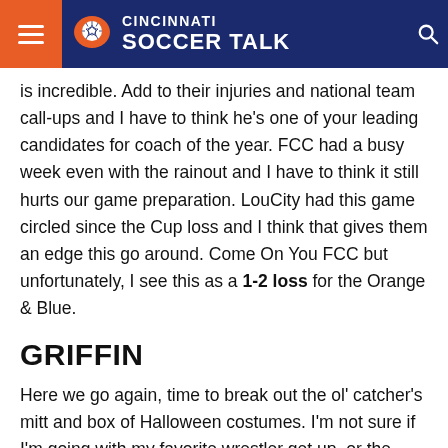Cincinnati Soccer Talk
is incredible. Add to their injuries and national team call-ups and I have to think he’s one of your leading candidates for coach of the year. FCC had a busy week even with the rainout and I have to think it still hurts our game preparation. LouCity had this game circled since the Cup loss and I think that gives them an edge this go around. Come On You FCC but unfortunately, I see this as a 1-2 loss for the Orange & Blue.
GRIFFIN
Here we go again, time to break out the ol’ catcher’s mitt and box of Halloween costumes. I’m not sure if I’m going with my favorite wrestler get up, or the most underrated DC villain, King Shark! CHOMP! CHOMP! Regardless of what distractions may be in the stands, let’s hope our boys can focus on hurdling turf staples and avoiding the mound. I